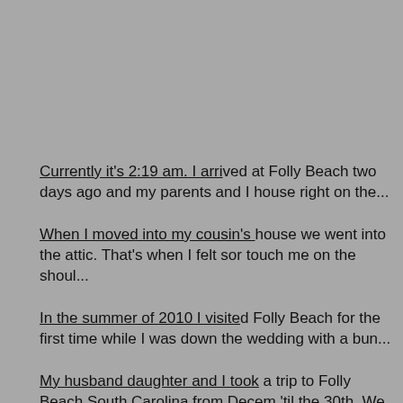Currently it's 2:19 am. I arrived at Folly Beach two days ago and my parents and I house right on the...
When I moved into my cousin's house we went into the attic. That's when I felt som touch me on the shoul...
In the summer of 2010 I visited Folly Beach for the first time while I was down the wedding with a bun...
My husband daughter and I took a trip to Folly Beach South Carolina from Decem 'til the 30th. We staye...
Back in 2002 my family was renting a house on the south end of the island on Foll It was late at night...
Hi I just found this site / pics while looking for verification on another pic. Back in 90's my boyf...
Debbie pierce I believe your story. A friend I used to work with saw a ghost on Fol She described him...
I think I have seen a ghost on the beach of Folly Beach. I was coming out of the wa...